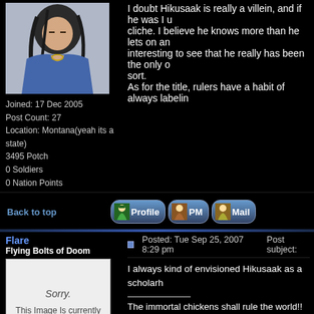[Figure (illustration): Anime character avatar - long haired male in blue robe]
I doubt Hikusaak is really a villein, and if he was I would say it's cliche. I believe he knows more than he lets on and... interesting to see that he really has been the only one of that sort.
As for the title, rulers have a habit of always labeling...
Joined: 17 Dec 2005
Post Count: 27
Location: Montana(yeah its a state)
3495 Potch
0 Soldiers
0 Nation Points
Back to top
[Figure (screenshot): Profile button with sprite character]
[Figure (screenshot): PM button with sprite character]
[Figure (screenshot): Mail button with sprite character]
Flare
Flying Bolts of Doom
Posted: Tue Sep 25, 2007 8:29 pm    Post subject:
[Figure (photo): Sorry. This Image is currently Unavailable - photobucket placeholder]
I always kind of envisioned Hikusaak as a scholarly...
The immortal chickens shall rule the world!!
Joined: 25 Mar 2006
Post Count: 3128
Location: Dazin